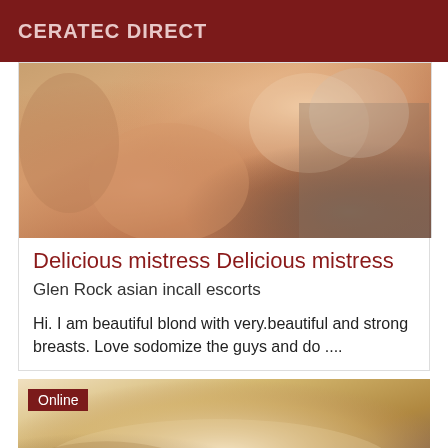CERATEC DIRECT
[Figure (photo): Photo of a person, warm toned]
Delicious mistress Delicious mistress
Glen Rock asian incall escorts
Hi. I am beautiful blond with very.beautiful and strong breasts. Love sodomize the guys and do ....
[Figure (photo): Photo with Online badge, warm toned abstract body curves]